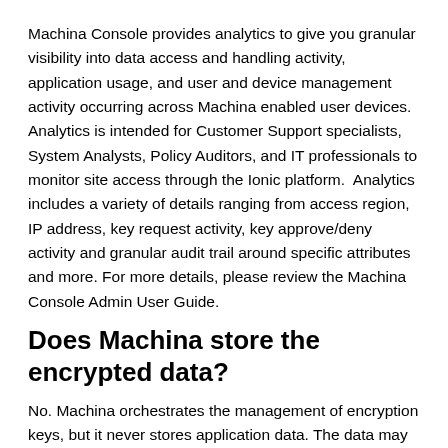Machina Console provides analytics to give you granular visibility into data access and handling activity, application usage, and user and device management activity occurring across Machina enabled user devices. Analytics is intended for Customer Support specialists, System Analysts, Policy Auditors, and IT professionals to monitor site access through the Ionic platform.  Analytics includes a variety of details ranging from access region, IP address, key request activity, key approve/deny activity and granular audit trail around specific attributes and more. For more details, please review the Machina Console Admin User Guide.
Does Machina store the encrypted data?
No. Machina orchestrates the management of encryption keys, but it never stores application data. The data may continue to flow via normal paths.
As the encrypted data, the re-use of the encryption